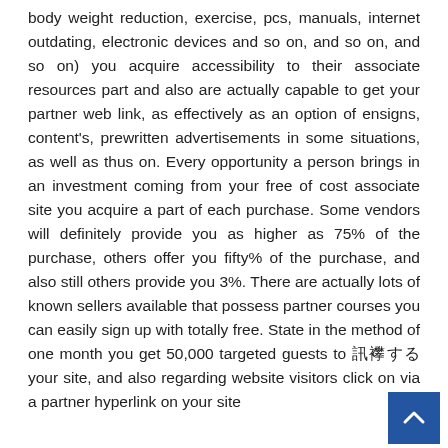body weight reduction, exercise, pcs, manuals, internet outdating, electronic devices and so on, and so on, and so on) you acquire accessibility to their associate resources part and also are actually capable to get your partner web link, as effectively as an option of ensigns, content's, prewritten advertisements in some situations, as well as thus on. Every opportunity a person brings in an investment coming from your free of cost associate site you acquire a part of each purchase. Some vendors will definitely provide you as higher as 75% of the purchase, others offer you fifty% of the purchase, and also still others provide you 3%. There are actually lots of known sellers available that possess partner courses you can easily sign up with totally free. State in the method of one month you get 50,000 targeted guests to 訪問する your site, and also regarding website visitors click on via a partner hyperlink on your site